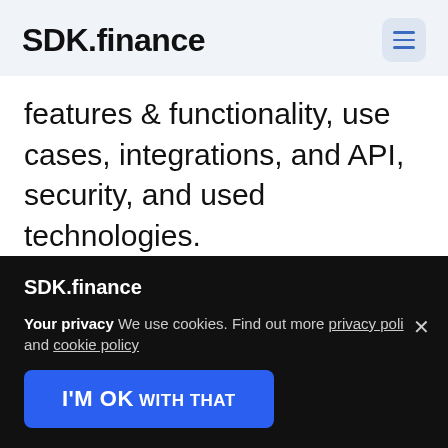SDK.finance
features & functionality, use cases, integrations, and API, security, and used technologies.
SDK.finance
Your privacy We use cookies. Find out more privacy policy and cookie policy
I'M OK WITH THAT